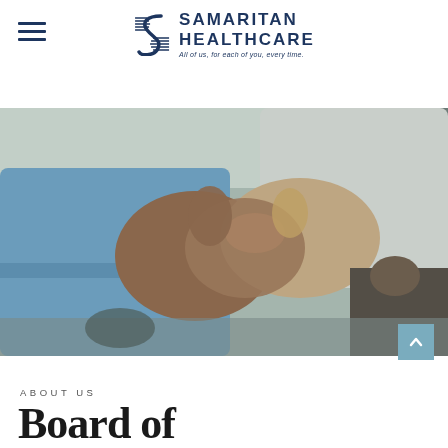Samaritan Healthcare — All of us, for each of you, every time.
[Figure (photo): Two people shaking hands — one in a blue dress shirt and one in a white shirt — in an office/meeting room setting, symbolizing partnership or agreement.]
ABOUT US
Board of